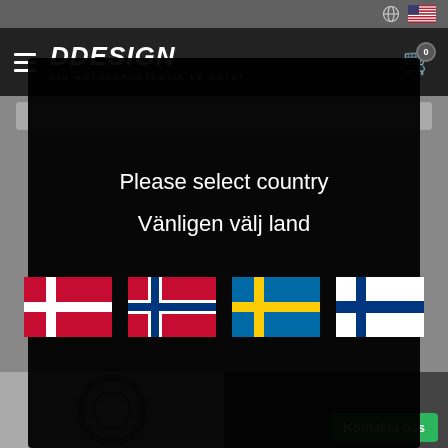DDesign - Din motorsportbutik på nätet
[Figure (screenshot): Website screenshot of DDesign motorsport shop with country selection modal overlay showing flags for Denmark, Norway, Sweden, and Finland]
Please select country
Vänligen välj land
Kontakta oss